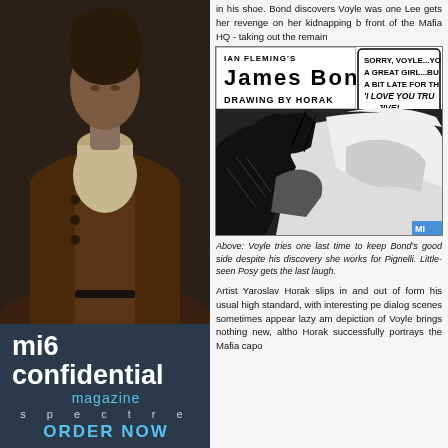[Figure (photo): Photo of a person wearing a beige/cream turtleneck and dark brown jacket, upper body visible, dark background. Magazine advertisement for MI6 Confidential.]
mi6 confidential magazine
spectre
ORDER NOW
in his shoe. Bond discovers Voyle was one Lee gets her revenge on her kidnapping b front of the Mafia HQ - taking out the remain
[Figure (illustration): Comic strip panel from Ian Fleming's James Bond, drawing by Horak. Shows a speech bubble: 'SORRY, VOYLE...YO A GREAT GIRL...BU A BIT LATE FOR TH 'I LOVE YOU TRU JIVE!' and comic art of Bond and a woman in dramatic scene. MI label in bottom right corner.]
Above: Voyle tries one last time to keep Bond's good side despite his discovery she works for Pignelli. Little-seen Posy gets the last laugh.
Artist Yaroslav Horak slips in and out of form his usual high standard, with interesting pe dialog scenes sometimes appear lazy am depiction of Voyle brings nothing new, altho Horak successfully portrays the Mafia capo